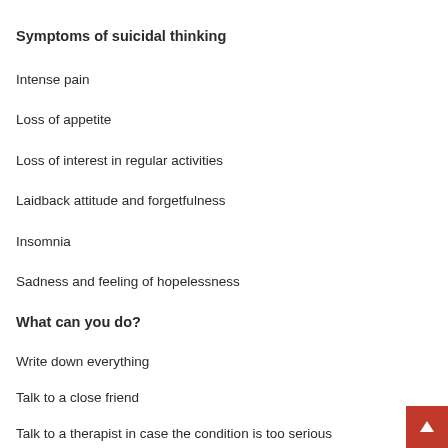Symptoms of suicidal thinking
Intense pain
Loss of appetite
Loss of interest in regular activities
Laidback attitude and forgetfulness
Insomnia
Sadness and feeling of hopelessness
What can you do?
Write down everything
Talk to a close friend
Talk to a therapist in case the condition is too serious